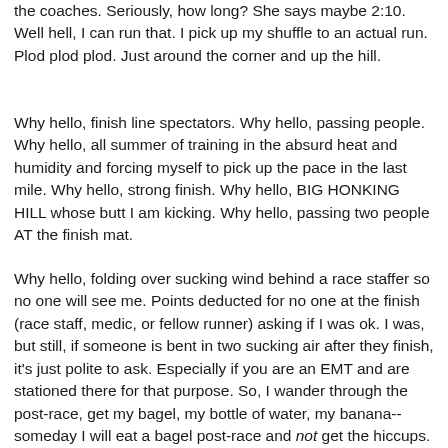the coaches. Seriously, how long? She says maybe 2:10. Well hell, I can run that. I pick up my shuffle to an actual run. Plod plod plod. Just around the corner and up the hill.
Why hello, finish line spectators. Why hello, passing people. Why hello, all summer of training in the absurd heat and humidity and forcing myself to pick up the pace in the last mile. Why hello, strong finish. Why hello, BIG HONKING HILL whose butt I am kicking. Why hello, passing two people AT the finish mat.
Why hello, folding over sucking wind behind a race staffer so no one will see me. Points deducted for no one at the finish (race staff, medic, or fellow runner) asking if I was ok. I was, but still, if someone is bent in two sucking air after they finish, it's just polite to ask. Especially if you are an EMT and are stationed there for that purpose. So, I wander through the post-race, get my bagel, my bottle of water, my banana--someday I will eat a bagel post-race and not get the hiccups. But as Aragorn says, today is not that day.
I find my cell phone, which is coated in salt from a mishap with a ziplock bag during the race, and text Carl: COME GET